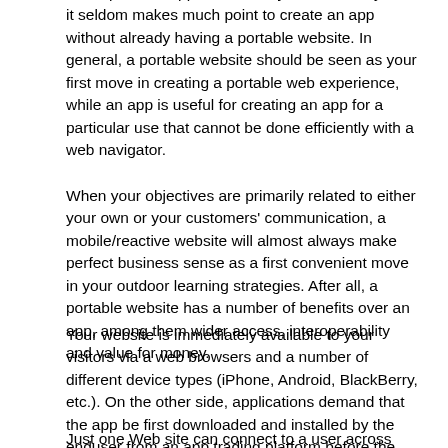and a portable app, but it's fairly certain to say that it seldom makes much point to create an app without already having a portable website. In general, a portable website should be seen as your first move in creating a portable web experience, while an app is useful for creating an app for a particular use that cannot be done efficiently with a web navigator.
When your objectives are primarily related to either your own or your customers' communication, a mobile/reactive website will almost always make perfect business sense as a first convenient move in your outdoor learning strategies. After all, a portable website has a number of benefits over an app, among them wider access, interoperability and value for money.
Your website is immediately available to your visitors via a web browsers and a number of different device types (iPhone, Android, BlackBerry, etc.). On the other side, applications demand that the app be first downloaded and installed by the enduser from an app trading platform before the contents or app can be seen - a significant obstacle between the early involvement and the action/conversion.
Just one Web site can connect to a user across many different